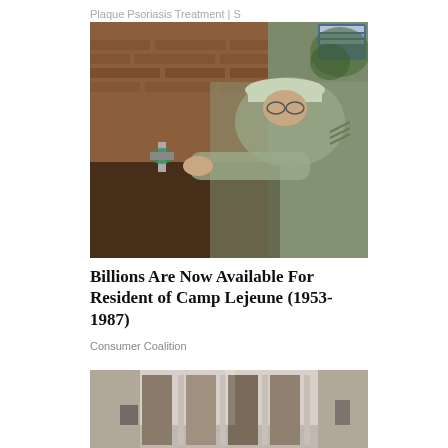Plaque Psoriasis Treatment | S
[Figure (photo): A soldier in military camouflage uniform and cap, crouching against a brick wall and working on a water pipe or valve connection.]
Billions Are Now Available For Resident of Camp Lejeune (1953-1987)
Consumer Coalition
[Figure (photo): Partial view of an interior room or hallway with furniture and doors visible.]